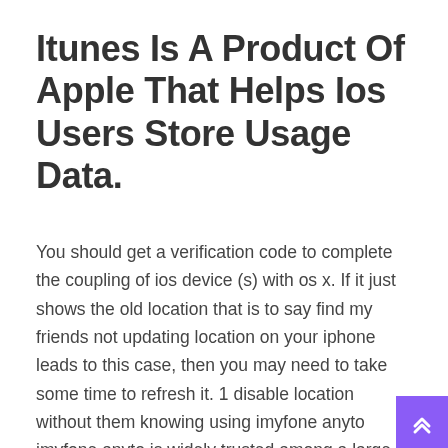Itunes Is A Product Of Apple That Helps Ios Users Store Usage Data.
You should get a verification code to complete the coupling of ios device (s) with os x. If it just shows the old location that is to say find my friends not updating location on your iphone leads to this case, then you may need to take some time to refresh it. 1 disable location without them knowing using imyfone anyto imyfone anyto is widely trusted among a large number of iphone users to stop someone from tracking an iphone without you knowing.